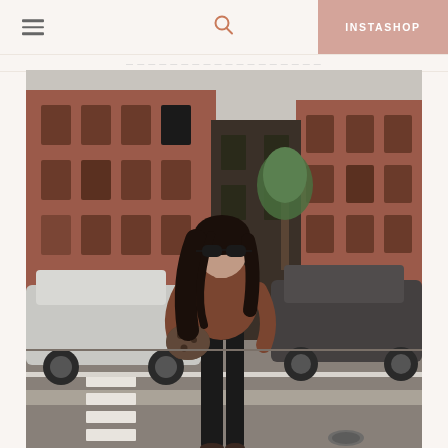INSTASHOP
[Figure (photo): A young woman with long dark hair and sunglasses, wearing a brown long-sleeve top and black skinny jeans, holding a leopard-print bag, standing in a crosswalk on an urban street. Behind her are red brick buildings and two parked cars — a white SUV on the left and a dark SUV on the right. A tree is visible in the background.]